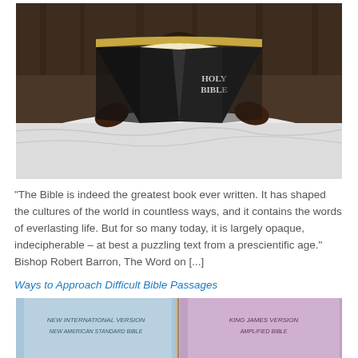[Figure (photo): Child reading a black Holy Bible while lying on a white bed, face hidden behind the open book. The book cover reads 'HOLY BIBLE' in silver letters. Background shows dark wooden headboard.]
“The Bible is indeed the greatest book ever written. It has shaped the cultures of the world in countless ways, and it contains the words of everlasting life. But for so many today, it is largely opaque, indecipherable – at best a puzzling text from a prescientific age.” Bishop Robert Barron, The Word on […]
Ways to Approach Difficult Bible Passages
[Figure (photo): Close-up of Bible books showing colored covers: a blue/light cover labeled 'New International Version / New American Standard Bible' on the left, and a purple/pink cover labeled 'King James Version / Amplified Bible' on the right, fanned out.]